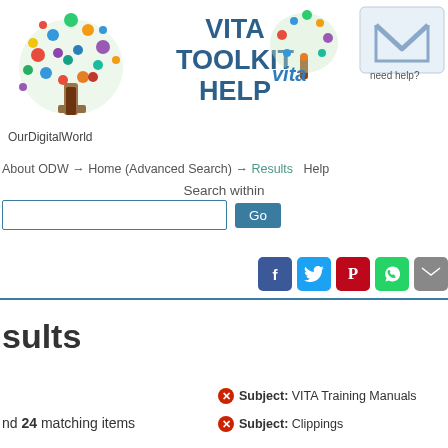[Figure (logo): OurDigitalWorld logo: colorful tree with digital icons, text 'OurDigitalWorld' below]
VITA TOOLKIT HELP
[Figure (logo): VITA logo: colorful tree with 'vita' text]
[Figure (logo): Need help? email icon with letter M]
About ODW → Home (Advanced Search) → Results    Help
Search within
[Figure (screenshot): Search input box with Go button]
[Figure (infographic): Social share icons: Facebook, Twitter, Pinterest, WhatsApp, Email]
sults
Subject: VITA Training Manuals
nd 24 matching items
Subject: Clippings